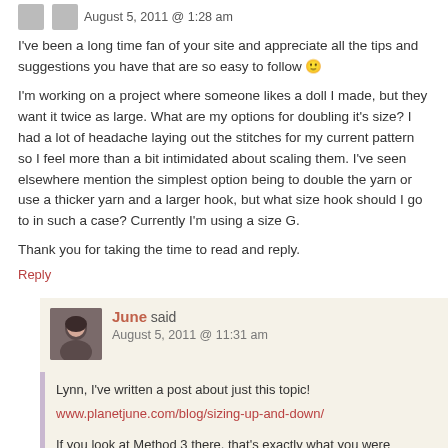August 5, 2011 @ 1:28 am
I've been a long time fan of your site and appreciate all the tips and suggestions you have that are so easy to follow 🙂
I'm working on a project where someone likes a doll I made, but they want it twice as large. What are my options for doubling it's size? I had a lot of headache laying out the stitches for my current pattern so I feel more than a bit intimidated about scaling them. I've seen elsewhere mention the simplest option being to double the yarn or use a thicker yarn and a larger hook, but what size hook should I go to in such a case? Currently I'm using a size G.
Thank you for taking the time to read and reply.
Reply
June said
August 5, 2011 @ 11:31 am
Lynn, I've written a post about just this topic!
www.planetjune.com/blog/sizing-up-and-down/
If you look at Method 3 there, that's exactly what you were